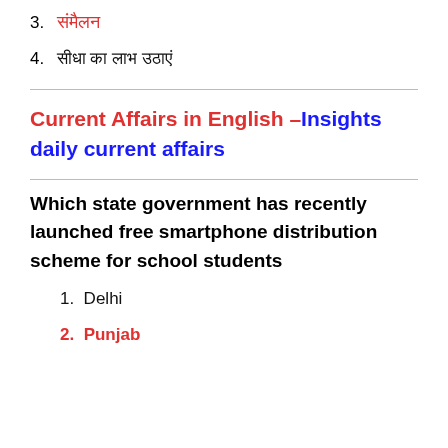3. [Hindi text - red]
4. [Hindi text - black]
Current Affairs in English –Insights daily current affairs
Which state government has recently launched free smartphone distribution scheme for school students
1. Delhi
2. Punjab